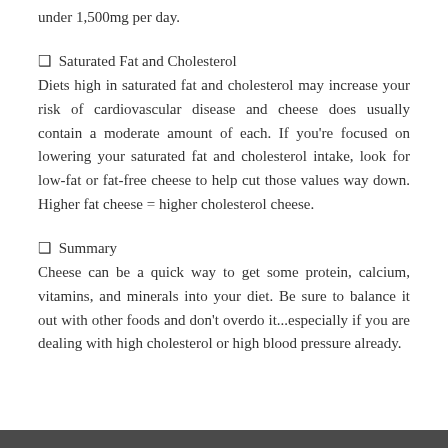under 1,500mg per day.
❑ Saturated Fat and Cholesterol
Diets high in saturated fat and cholesterol may increase your risk of cardiovascular disease and cheese does usually contain a moderate amount of each. If you're focused on lowering your saturated fat and cholesterol intake, look for low-fat or fat-free cheese to help cut those values way down. Higher fat cheese = higher cholesterol cheese.
❑ Summary
Cheese can be a quick way to get some protein, calcium, vitamins, and minerals into your diet. Be sure to balance it out with other foods and don't overdo it...especially if you are dealing with high cholesterol or high blood pressure already.